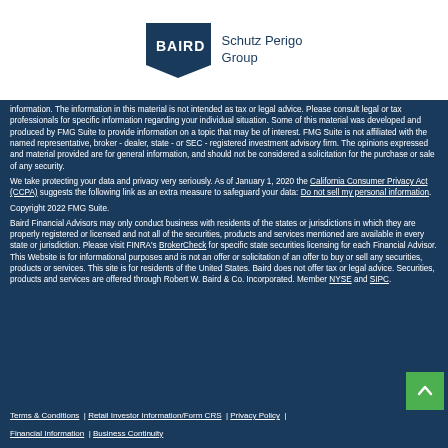[Figure (logo): Baird Schutz Perigo Group logo — dark navy flag shape with BAIRD text, beside 'Schutz Perigo Group' text]
information. The information in this material is not intended as tax or legal advice. Please consult legal or tax professionals for specific information regarding your individual situation. Some of this material was developed and produced by FMG Suite to provide information on a topic that may be of interest. FMG Suite is not affiliated with the named representative, broker - dealer, state - or SEC - registered investment advisory firm. The opinions expressed and material provided are for general information, and should not be considered a solicitation for the purchase or sale of any security.
We take protecting your data and privacy very seriously. As of January 1, 2020 the California Consumer Privacy Act (CCPA) suggests the following link as an extra measure to safeguard your data: Do not sell my personal information.
Copyright 2022 FMG Suite.
Baird Financial Advisors may only conduct business with residents of the states or jurisdictions in which they are properly registered or licensed and not all of the securities, products and services mentioned are available in every state or jurisdiction. Please visit FINRA's BrokerCheck for specific state securities licensing for each Financial Advisor. This Website is for informational purposes and is not an offer or solicitation of an offer to buy or sell any securities, products or services. This site is for residents of the United States. Baird does not offer tax or legal advice. Securities, products and services are offered through Robert W. Baird & Co. Incorporated. Member NYSE and SIPC.
Terms & Conditions | Retail Investor Information/Form CRS | Privacy Policy | Financial Information | Business Continuity